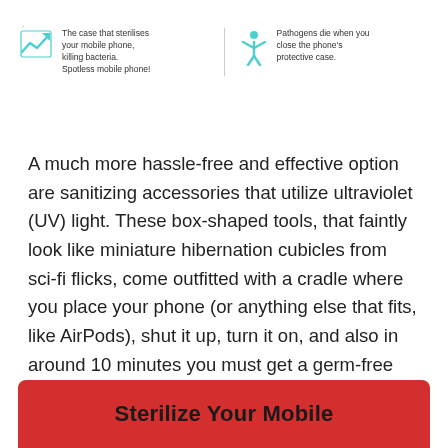[Figure (infographic): Two-panel info block. Left panel: teal trending-up arrow icon with text 'The case that sterilises your mobile phone, killing bacteria. Spotless mobile phone!' Right panel: teal human figure icon with text 'Pathogens die when you close the phone's protective case.' Separated by a vertical line.]
A much more hassle-free and effective option are sanitizing accessories that utilize ultraviolet (UV) light. These box-shaped tools, that faintly look like miniature hibernation cubicles from sci-fi flicks, come outfitted with a cradle where you place your phone (or anything else that fits, like AirPods), shut it up, turn it on, and also in around 10 minutes you must get a germ-free phone.
Sterilize Your Mobile